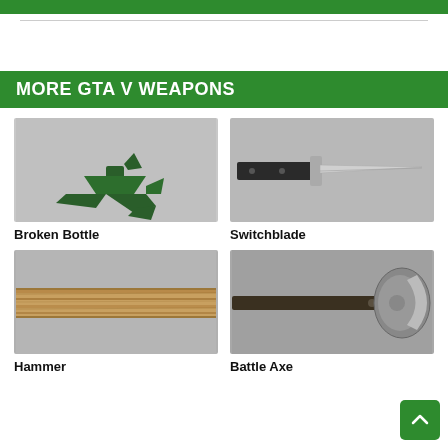[Figure (screenshot): Green top navigation bar (partial, cropped at top)]
MORE GTA V WEAPONS
[Figure (photo): Broken Bottle weapon from GTA V — dark green spiked broken bottle shape on grey background]
Broken Bottle
[Figure (photo): Switchblade weapon from GTA V — knife with black handle and silver blade on grey background]
Switchblade
[Figure (photo): Hammer weapon from GTA V — wooden handle close-up on grey background]
Hammer
[Figure (photo): Battle Axe weapon from GTA V — dark axe handle with blade partially visible on grey background]
Battle Axe